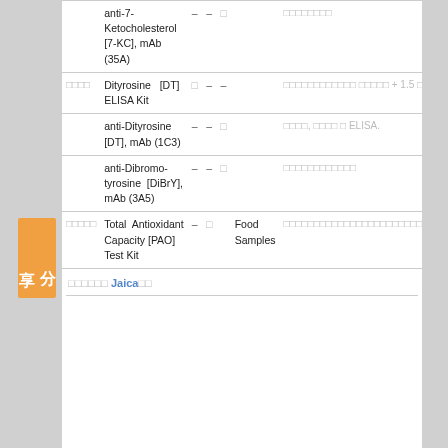|  | Name | - | - | □ | Sample | Notes |
| --- | --- | --- | --- | --- | --- | --- |
|  | anti-7-Ketocholesterol [7-KC], mAb (35A) | – | – | □ |  | □□□□□□□□ |
| □□□□ | Dityrosine [DT] ELISA Kit | □ | – | – |  | □□□□□□□□□□□□ □□□□□ + 1.5 □□□ |
|  | anti-Dityrosine [DT], mAb (1C3) | – | – | □ |  | □□□□, □□□□ □ ELISA. |
|  | anti-Dibromo-tyrosine [DiBrY], mAb (3A5) | – | – | □ |  | □□□□□□□□□□□□ |
| □□□□□ | Total Antioxidant Capacity [PAO] Test Kit | – | □ |  | Food Samples | □□□□□□□□□□□□□□□□□□□□□□□□□□□□ |
□□□□□□ Jaica□□